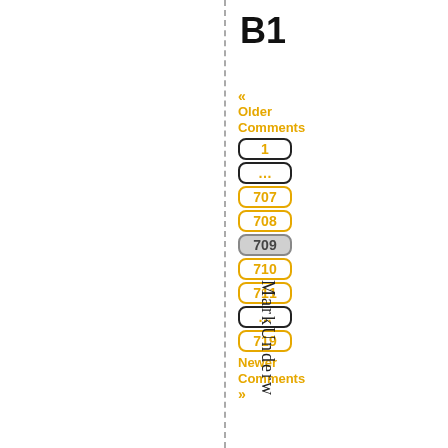B1
« Older Comments
1
...
707
708
709
710
711
...
719
Newer Comments »
MarkUnderw